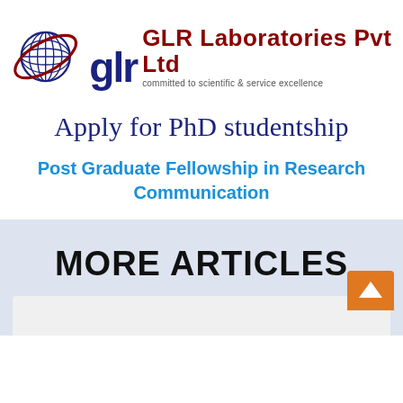[Figure (logo): GLR Laboratories Pvt Ltd logo with globe graphic and company name in dark red, tagline 'committed to scientific & service excellence']
Apply for PhD studentship
Post Graduate Fellowship in Research Communication
MORE ARTICLES